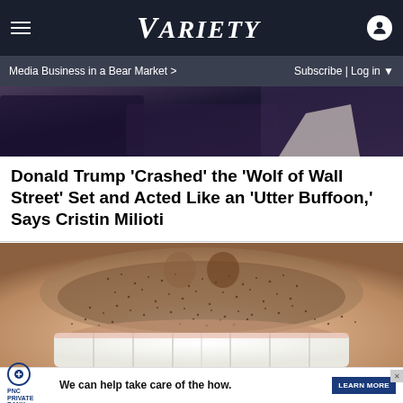VARIETY — Media Business in a Bear Market > | Subscribe | Log in
[Figure (photo): Partial photo of person in dark clothing at top of article]
Donald Trump ‘Crashed’ the ‘Wolf of Wall Street’ Set and Acted Like an ‘Utter Buffoon,’ Says Cristin Milioti
[Figure (photo): Close-up photo of a man's face showing stubble/beard and bright white teeth smiling]
[Figure (other): PNC Private Bank advertisement: We can help take care of the how. LEARN MORE button with skip/close icon]